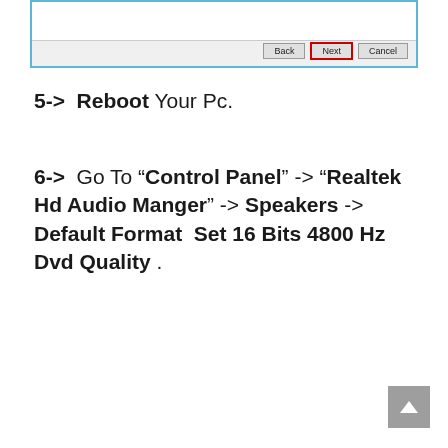[Figure (screenshot): Windows dialog box showing Back, Next (highlighted with red border), and Cancel buttons at the bottom. The dialog has a white content area at top and a light gray button bar.]
5->  Reboot Your Pc.
6->  Go To “Control Panel” -> “Realtek Hd Audio Manger” -> Speakers -> Default Format  Set 16 Bits 4800 Hz Dvd Quality .